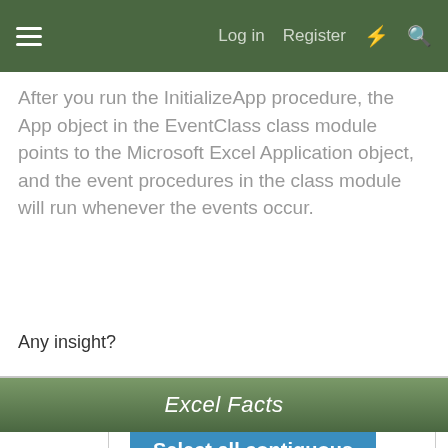Log in  Register
After you run the InitializeApp procedure, the App object in the EventClass class module points to the Microsoft Excel Application object, and the event procedures in the class module will run whenever the events occur.
Any insight?
Excel Facts
Select all contiguous cells
Click here to reveal answer
dk
MrExcel MVP